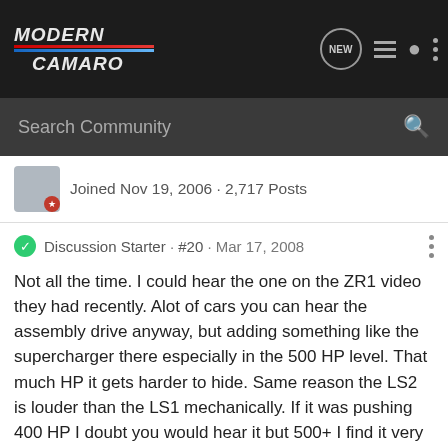Modern Camaro - community forum navigation bar with search
Joined Nov 19, 2006 · 2,717 Posts
Discussion Starter · #20 · Mar 17, 2008
Not all the time. I could hear the one on the ZR1 video they had recently. Alot of cars you can hear the assembly drive anyway, but adding something like the supercharger there especially in the 500 HP level. That much HP it gets harder to hide. Same reason the LS2 is louder than the LS1 mechanically. If it was pushing 400 HP I doubt you would hear it but 500+ I find it very easy to hear.
2000 Red 1SC Z28 A4 - dead for now
2005 Black GTO M6 6.0 - Split daily driver